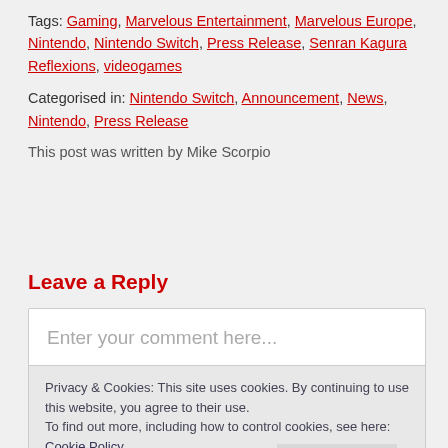Tags: Gaming, Marvelous Entertainment, Marvelous Europe, Nintendo, Nintendo Switch, Press Release, Senran Kagura Reflexions, videogames
Categorised in: Nintendo Switch, Announcement, News, Nintendo, Press Release
This post was written by Mike Scorpio
Leave a Reply
Enter your comment here...
Privacy & Cookies: This site uses cookies. By continuing to use this website, you agree to their use.
To find out more, including how to control cookies, see here: Cookie Policy